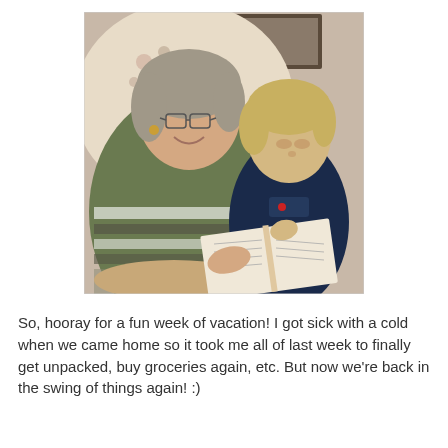[Figure (photo): A woman wearing glasses and a green striped sweater sits in a floral armchair smiling, while a young blond toddler boy in a dark navy jacket sits beside her looking at an open book they are reading together.]
So, hooray for a fun week of vacation! I got sick with a cold when we came home so it took me all of last week to finally get unpacked, buy groceries again, etc. But now we're back in the swing of things again! :)